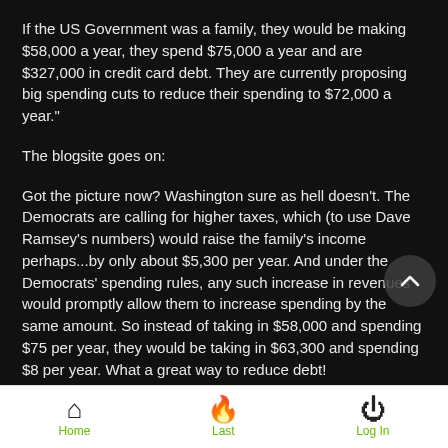If the US Government was a family, they would be making $58,000 a year, they spend $75,000 a year and are $327,000 in credit card debt. They are currently proposing big spending cuts to reduce their spending to $72,000 a year."
The blogsite goes on:
Got the picture now? Washington sure as hell doesn't. The Democrats are calling for higher taxes, which (to use Dave Ramsey's numbers) would raise the family's income perhaps...by only about $5,300 per year. And under the Democrats' spending rules, any such increase in revenues would promptly allow them to increase spending by the same amount. So instead of taking in $58,000 and spending $75 per year, they would be taking in $63,300 and spending $8 per year. What a great way to reduce debt!
Home  Last  Log In